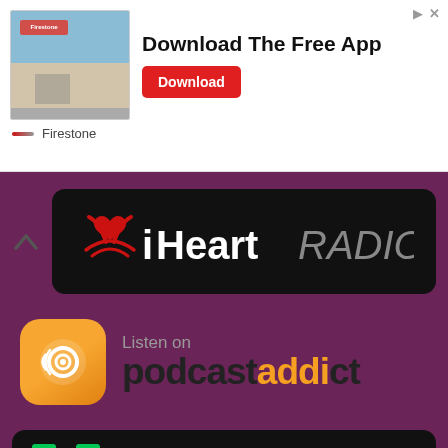[Figure (photo): Firestone advertisement banner: photo of a Firestone store building on the left, bold text 'Download The Free App' in the center, a red 'Download' button, and the Firestone brand name with logo at the bottom left.]
[Figure (logo): iHeartRADIO logo on a black rounded rectangle banner with a chevron/arrow pointing up on the left side.]
[Figure (logo): Podcast Addict 'Listen on' badge: orange rounded square icon with headphone/podcast symbol on the left, and 'Listen on podcastaddict' text on the right with orange accent on the 'i'.]
[Figure (logo): Deezer 'Listen on' badge on black rounded rectangle: colorful equalizer bars logo on the left, 'Listen on' text top right, and large white 'deezer' text.]
[Figure (logo): TuneIn 'LISTEN ON' badge on dark rounded rectangle (partially visible at bottom): teal TuneIn logo and partial 'tunein' text visible.]